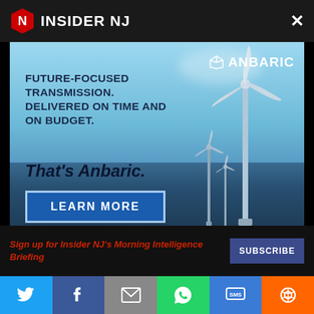INSIDER NJ
[Figure (photo): Offshore wind turbines against a blue sky and sea background with ANBARIC logo. Text overlay: FUTURE-FOCUSED TRANSMISSION. DELIVERED ON TIME AND ON BUDGET. That's Anbaric. LEARN MORE button.]
Sign up for Insider NJ's Morning Intelligence Briefing
SUBSCRIBE